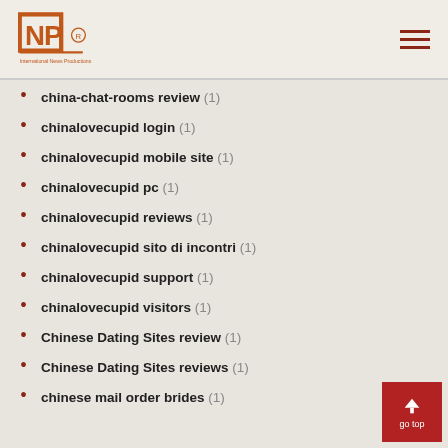INP logo and navigation
china-chat-rooms review (1)
chinalovecupid login (1)
chinalovecupid mobile site (1)
chinalovecupid pc (1)
chinalovecupid reviews (1)
chinalovecupid sito di incontri (1)
chinalovecupid support (1)
chinalovecupid visitors (1)
Chinese Dating Sites review (1)
Chinese Dating Sites reviews (1)
chinese mail order brides (1)